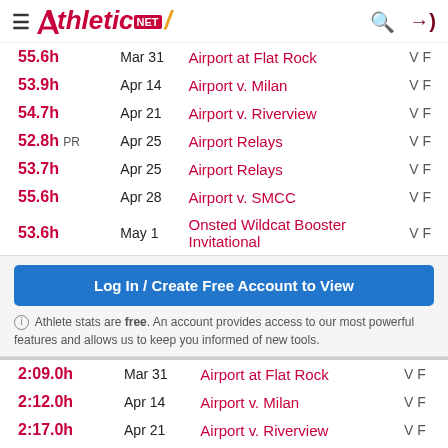Athletic.NET
| Time | Date | Meet |  |
| --- | --- | --- | --- |
| 55.6h | Mar 31 | Airport at Flat Rock | V F |
| 53.9h | Apr 14 | Airport v. Milan | V F |
| 54.7h | Apr 21 | Airport v. Riverview | V F |
| 52.8h PR | Apr 25 | Airport Relays | V F |
| 53.7h | Apr 25 | Airport Relays | V F |
| 55.6h | Apr 28 | Airport v. SMCC | V F |
| 53.6h | May 1 | Onsted Wildcat Booster Invitational | V F |
Log In / Create Free Account to View
Athlete stats are free. An account provides access to our most powerful features and allows us to keep you informed of new tools.
| Time | Date | Meet |  |
| --- | --- | --- | --- |
| 2:09.0h | Mar 31 | Airport at Flat Rock | V F |
| 2:12.0h | Apr 14 | Airport v. Milan | V F |
| 2:17.0h | Apr 21 | Airport v. Riverview | V F |
| 2:27.8h | Apr 25 | Airport Relays | V F |